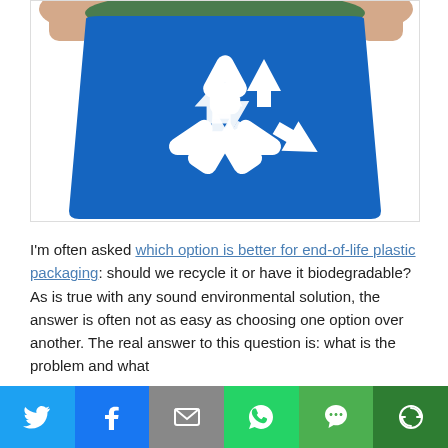[Figure (photo): Person holding a blue recycling bin with white recycling symbol on it. Hands visible at top. Green lid visible at top.]
I'm often asked which option is better for end-of-life plastic packaging: should we recycle it or have it biodegradable? As is true with any sound environmental solution, the answer is often not as easy as choosing one option over another. The real answer to this question is: what is the problem and what
[Figure (infographic): Social media share bar with icons: Twitter (blue), Facebook (blue), Email (grey envelope), WhatsApp (green), SMS (green with speech bubble), and More (dark green with circular arrow icon).]